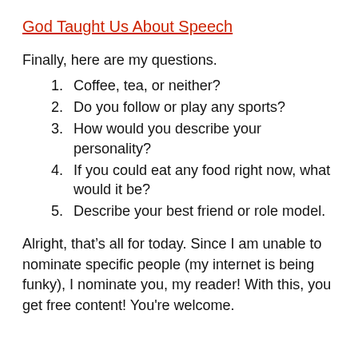God Taught Us About Speech
Finally, here are my questions.
Coffee, tea, or neither?
Do you follow or play any sports?
How would you describe your personality?
If you could eat any food right now, what would it be?
Describe your best friend or role model.
Alright, that’s all for today. Since I am unable to nominate specific people (my internet is being funky), I nominate you, my reader! With this, you get free content! You're welcome.